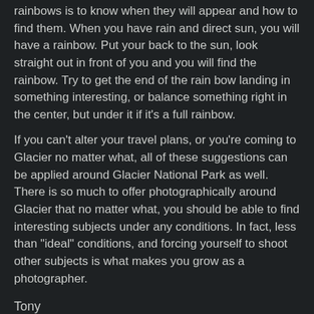rainbows is to know when they will appear and how to find them. When you have rain and direct sun, you will have a rainbow. Put your back to the sun, look straight out in front of you and you will find the rainbow. Try to get the end of the rain bow landing in something interesting, or balance something right in the center, but under it if it's a full rainbow.
If you can't alter your travel plans, or you're coming to Glacier no matter what, all of these suggestions can be applied around Glacier National Park as well. There is so much to offer photographically around Glacier that no matter what, you should be able to find interesting subjects under any conditions. In fact, less than "ideal" conditions, and forcing yourself to shoot other subjects is what makes you grow as a photographer.
Tony
www.tonybynum.com at 2:33 PM
Share